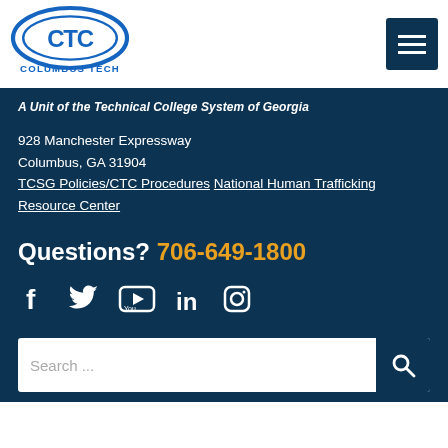[Figure (logo): Columbus Tech (CTC) logo with blue oval and 'COLUMBUS TECH' text below]
A Unit of the Technical College System of Georgia
928 Manchester Expressway
Columbus, GA 31904
TCSG Policies/CTC Procedures
National Human Trafficking Resource Center
Questions? 706-649-1800
[Figure (other): Social media icons: Facebook, Twitter, YouTube, LinkedIn, Instagram]
Search ...